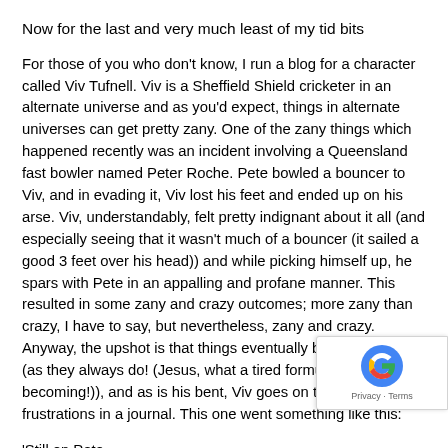Now for the last and very much least of my tid bits
For those of you who don't know, I run a blog for a character called Viv Tufnell. Viv is a Sheffield Shield cricketer in an alternate universe and as you'd expect, things in alternate universes can get pretty zany. One of the zany things which happened recently was an incident involving a Queensland fast bowler named Peter Roche. Pete bowled a bouncer to Viv, and in evading it, Viv lost his feet and ended up on his arse. Viv, understandably, felt pretty indignant about it all (and especially seeing that it wasn't much of a bouncer (it sailed a good 3 feet over his head)) and while picking himself up, he spars with Pete in an appalling and profane manner. This resulted in some zany and crazy outcomes; more zany than crazy, I have to say, but nevertheless, zany and crazy. Anyway, the upshot is that things eventually backfired on Viv (as they always do! (Jesus, what a tired formula it's becoming!)), and as is his bent, Viv goes on to internalize his frustrations in a journal. This one went something like this:
‘Still on Pete
After getting back to the hotel after today’s play, I emailed him about his “bouncer”. I said, “If that was a snorter then snorters are now as devalued as the Zimbabwean dollar.” I said, “You put a Bon Jovi spin on fast bowling in that ‘You give pace a bad name’.” I said, “With you it’s not chin music, chin muzak.” I said, “When you bang it in short, your toes curl up to avoid being hit.” I said, “They don’t use a speed gun to measure your pace, they